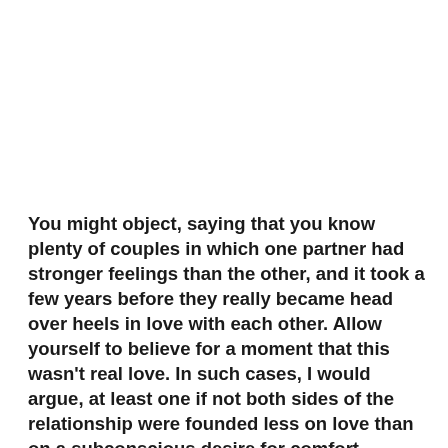You might object, saying that you know plenty of couples in which one partner had stronger feelings than the other, and it took a few years before they really became head over heels in love with each other. Allow yourself to believe for a moment that this wasn't real love. In such cases, I would argue, at least one if not both sides of the relationship were founded less on love than on a subconscious desire for comfort, stability, the chance of a more secure future, and especially a desire simply not to be alone, rather than actual love.